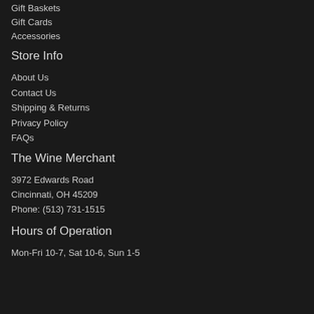Gift Baskets
Gift Cards
Accessories
Store Info
About Us
Contact Us
Shipping & Returns
Privacy Policy
FAQs
The Wine Merchant
3972 Edwards Road
Cincinnati, OH 45209
Phone: (513) 731-1515
Hours of Operation
Mon-Fri 10-7, Sat 10-6, Sun 1-5